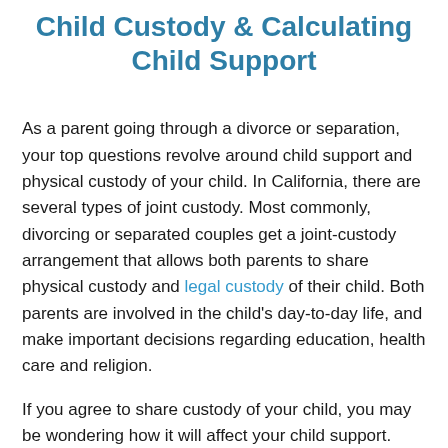Child Custody & Calculating Child Support
As a parent going through a divorce or separation, your top questions revolve around child support and physical custody of your child. In California, there are several types of joint custody. Most commonly, divorcing or separated couples get a joint-custody arrangement that allows both parents to share physical custody and legal custody of their child. Both parents are involved in the child's day-to-day life, and make important decisions regarding education, health care and religion.
If you agree to share custody of your child, you may be wondering how it will affect your child support. Shared custody is just part of the child support calculation. The family court in California uses different factors when calculating child support. It is